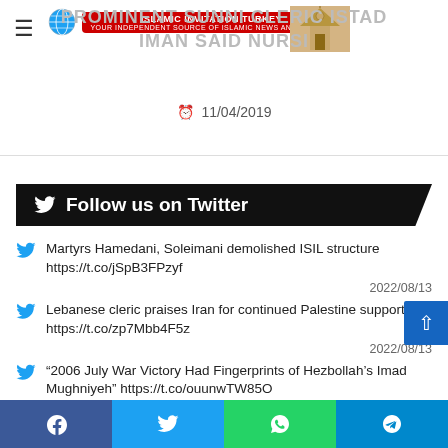PROMINENT SUNNI CLERIC ISTAD IMAN SAID NURSI
11/04/2019
Follow us on Twitter
Martyrs Hamedani, Soleimani demolished ISIL structure https://t.co/jSpB3FPzyf
2022/08/13
Lebanese cleric praises Iran for continued Palestine support https://t.co/zp7Mbb4F5z
2022/08/13
“2006 July War Victory Had Fingerprints of Hezbollah’s Imad Mughniyeh” https://t.co/ouunwTW85O
2022/08/13
In contravention of truce, brutal Saudi-led forces carry out fresh